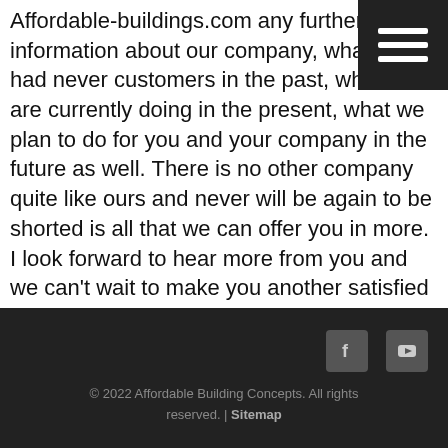Affordable-buildings.com any further information about our company, what we had never customers in the past, what we are currently doing in the present, what we plan to do for you and your company in the future as well. There is no other company quite like ours and never will be again to be shorted is all that we can offer you in more. I look forward to hear more from you and we can't wait to make you another satisfied customer of affordable billing concepts, have a great day!
[Figure (other): Dark hamburger menu button in top right corner with three white horizontal lines]
[Figure (other): Search input field with Search button]
© 2022 Affordable Building Concepts. All rights reserved. | Sitemap